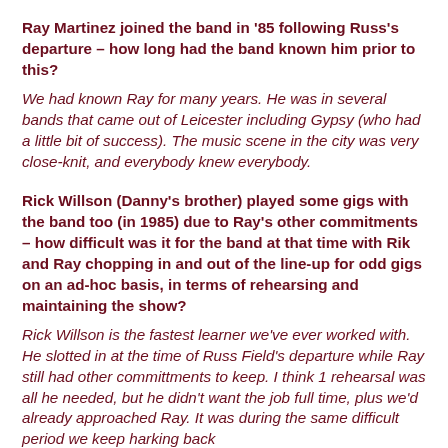Ray Martinez joined the band in '85 following Russ's departure – how long had the band known him prior to this?
We had known Ray for many years. He was in several bands that came out of Leicester including Gypsy (who had a little bit of success). The music scene in the city was very close-knit, and everybody knew everybody.
Rick Willson (Danny's brother) played some gigs with the band too (in 1985) due to Ray's other commitments – how difficult was it for the band at that time with Rik and Ray chopping in and out of the line-up for odd gigs on an ad-hoc basis, in terms of rehearsing and maintaining the show?
Rick Willson is the fastest learner we've ever worked with. He slotted in at the time of Russ Field's departure while Ray still had other committments to keep. I think 1 rehearsal was all he needed, but he didn't want the job full time, plus we'd already approached Ray. It was during the same difficult period we keep harking back